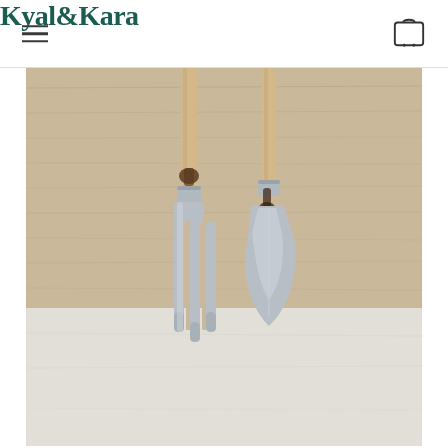Kyal&Kara
[Figure (photo): Two garden hand tools (a three-pronged fork and a trowel/spade) with wooden handles and stainless steel heads, photographed leaning against a light wood-grain wall surface, resting on a white/grey stone surface. The metal heads are polished silver and the handles are natural light wood.]